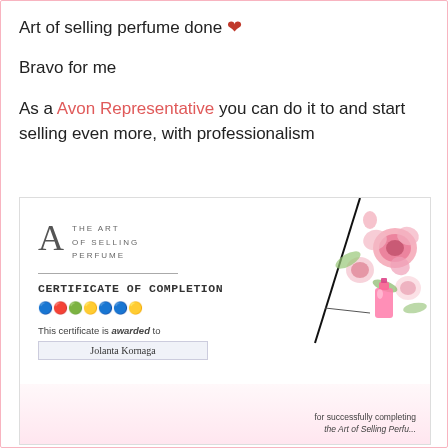Art of selling perfume done ❤
Bravo for me
As a Avon Representative you can do it to and start selling even more, with professionalism
[Figure (photo): Certificate of completion for The Art of Selling Perfume, awarded to Jolanta Kornaga, with floral decorations and perfume bottle illustration. Text reads: This certificate is awarded to Jolanta Kornaga for successfully completing the Art of Selling Perfume.]